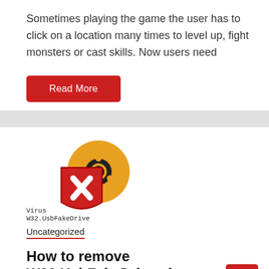Sometimes playing the game the user has to click on a location many times to level up, fight monsters or cast skills. Now users need
Read More
[Figure (illustration): Virus icon: a red shield with white X overlapping a golden biohazard circle symbol, with label 'Virus W32.UsbFakeDrive' below]
Uncategorized
How to remove W32.UsbFakeDrive virus root
May 3, 2021   sccaid